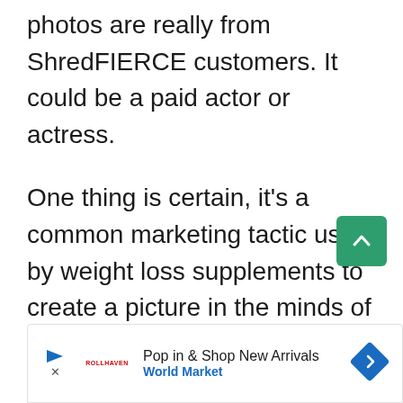photos are really from ShredFIERCE customers. It could be a paid actor or actress.
One thing is certain, it's a common marketing tactic used by weight loss supplements to create a picture in the minds of potential customers and convince them to buy.
Undoubtedly, ShredFIERCE uses the same
[Figure (other): Advertisement banner for World Market: 'Pop in & Shop New Arrivals' with a navigation arrow icon and World Market branding.]